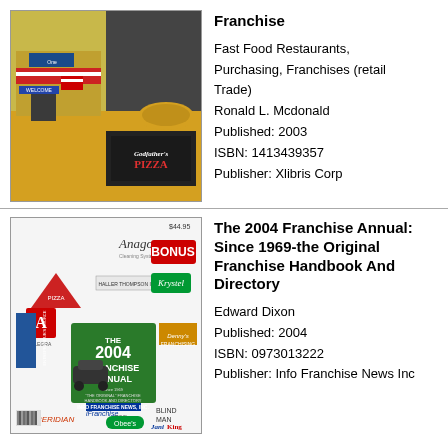[Figure (photo): Book cover for fast food franchise book showing Godfather's Pizza and other restaurant storefronts]
Franchise
Fast Food Restaurants, Purchasing, Franchises (retail Trade)
Ronald L. Mcdonald
Published: 2003
ISBN: 1413439357
Publisher: Xlibris Corp
[Figure (photo): Book cover for The 2004 Franchise Annual showing various franchise logos including Anago, Bonus, Krystal, Ceridian, iFranchise Group, Jani-King]
The 2004 Franchise Annual: Since 1969-the Original Franchise Handbook And Directory
Edward Dixon
Published: 2004
ISBN: 0973013222
Publisher: Info Franchise News Inc